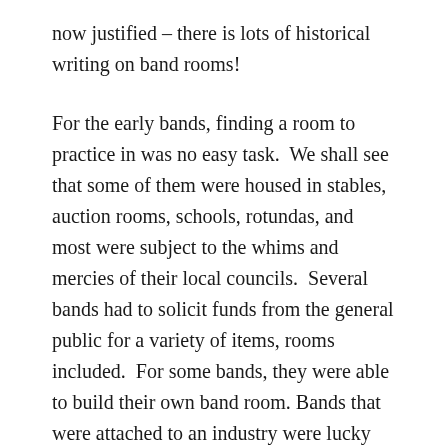now justified – there is lots of historical writing on band rooms!
For the early bands, finding a room to practice in was no easy task. We shall see that some of them were housed in stables, auction rooms, schools, rotundas, and most were subject to the whims and mercies of their local councils. Several bands had to solicit funds from the general public for a variety of items, rooms included. For some bands, they were able to build their own band room. Bands that were attached to an industry were lucky enough to have rooms provided for them.
There is a similarity in the stories from across Australia when it came to bands and their rooms.